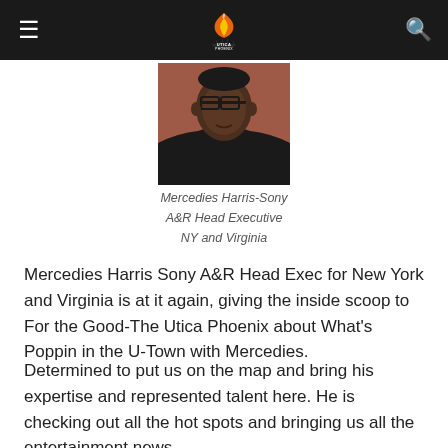Utica Phoenix — navigation bar
[Figure (photo): Portrait photo of Mercedies Harris, a man wearing glasses and a dark jacket, shown from shoulders up against a reddish-brown background.]
Mercedies Harris-Sony
A&R Head Executive
NY and Virginia
Mercedies Harris Sony A&R Head Exec for New York and Virginia is at it again, giving the inside scoop to For the Good-The Utica Phoenix about What's Poppin in the U-Town with Mercedies.
Determined to put us on the map and bring his expertise and represented talent here. He is checking out all the hot spots and bringing us all the entertainment news.